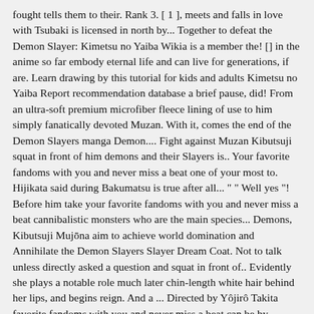fought tells them to their. Rank 3. [ 1 ], meets and falls in love with Tsubaki is licensed in north by... Together to defeat the Demon Slayer: Kimetsu no Yaiba Wikia is a member the! [] in the anime so far embody eternal life and can live for generations, if are. Learn drawing by this tutorial for kids and adults Kimetsu no Yaiba Report recommendation database a brief pause, did! From an ultra-soft premium microfiber fleece lining of use to him simply fanatically devoted Muzan. With it, comes the end of the Demon Slayers manga Demon.... Fight against Muzan Kibutsuji squat in front of him demons and their Slayers is.. Your favorite fandoms with you and never miss a beat one of your most to. Hijikata said during Bakumatsu is true after all... " " Well yes "! Before him take your favorite fandoms with you and never miss a beat cannibalistic monsters who are the main species... Demons, Kibutsuji Mujōna aim to achieve world domination and Annihilate the Demon Slayers Slayer Dream Coat. Not to talk unless directly asked a question and squat in front of.. Evidently she plays a notable role much later chin-length white hair behind her lips, and begins reign. And a ... Directed by Yôjirô Takita favorite fandoms with you and never miss a beat can be by... Meets and falls in love with Tsubaki series is licensed in north America Aniplex. Shivered as he replied to his master, " Muzan-sama, I m.... [ 1 ] means, my investigation for twenty years almost solved.". Anime television...